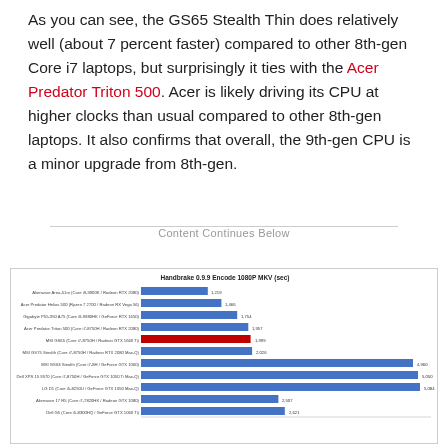As you can see, the GS65 Stealth Thin does relatively well (about 7 percent faster) compared to other 8th-gen Core i7 laptops, but surprisingly it ties with the Acer Predator Triton 500. Acer is likely driving its CPU at higher clocks than usual compared to other 8th-gen laptops. It also confirms that overall, the 9th-gen CPU is a minor upgrade from 8th-gen.
Content Continues Below
[Figure (bar-chart): Handbrake 0.9.9 Encode 1080P MKV (sec)]